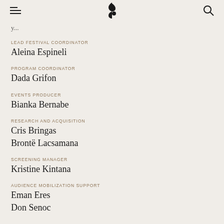— [logo] Q
y...
LEAD FESTIVAL COORDINATOR
Aleina Espineli
PROGRAM COORDINATOR
Dada Grifon
EVENTS PRODUCER
Bianka Bernabe
RESEARCH AND ACQUISITION
Cris Bringas
Brontë Lacsamana
SCREENING MANAGER
Kristine Kintana
AUDIENCE MOBILIZATION SUPPORT
Eman Eres
Don Senoc